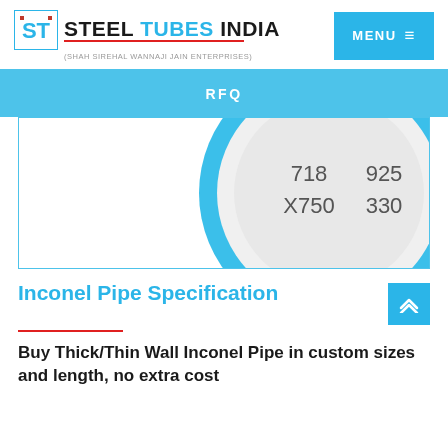[Figure (logo): Steel Tubes India logo with ST icon and company name, subtitle (Shah Siremal Wannaji Jain Enterprises)]
[Figure (other): Menu button (blue background, white MENU text with hamburger icon)]
RFQ
[Figure (illustration): Partial circular disk/donut graphic showing Inconel grades: 718, 925, X750, 330, inside a blue-bordered rectangular frame]
Inconel Pipe Specification
Buy Thick/Thin Wall Inconel Pipe in custom sizes and length, no extra cost